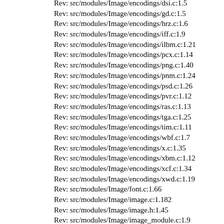Rev: src/modules/Image/encodings/dsi.c:1.5
Rev: src/modules/Image/encodings/gd.c:1.5
Rev: src/modules/Image/encodings/hrz.c:1.6
Rev: src/modules/Image/encodings/iff.c:1.9
Rev: src/modules/Image/encodings/ilbm.c:1.21
Rev: src/modules/Image/encodings/pcx.c:1.14
Rev: src/modules/Image/encodings/png.c:1.40
Rev: src/modules/Image/encodings/pnm.c:1.24
Rev: src/modules/Image/encodings/psd.c:1.26
Rev: src/modules/Image/encodings/pvr.c:1.12
Rev: src/modules/Image/encodings/ras.c:1.13
Rev: src/modules/Image/encodings/tga.c:1.25
Rev: src/modules/Image/encodings/tim.c:1.11
Rev: src/modules/Image/encodings/wbf.c:1.7
Rev: src/modules/Image/encodings/x.c:1.35
Rev: src/modules/Image/encodings/xbm.c:1.12
Rev: src/modules/Image/encodings/xcf.c:1.34
Rev: src/modules/Image/encodings/xwd.c:1.19
Rev: src/modules/Image/font.c:1.66
Rev: src/modules/Image/image.c:1.182
Rev: src/modules/Image/image.h:1.45
Rev: src/modules/Image/image_module.c:1.9
Rev: src/modules/Image/layers.c:1.58
Rev: src/modules/Image/match.h:1.11
Rev: src/modules/Image/matrix.c:1.30
Rev: src/modules/Image/...c:1.24